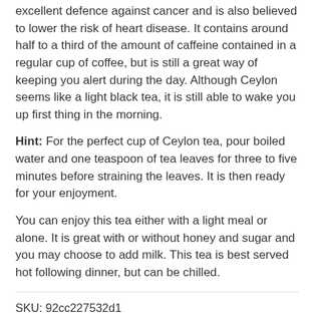excellent defence against cancer and is also believed to lower the risk of heart disease. It contains around half to a third of the amount of caffeine contained in a regular cup of coffee, but is still a great way of keeping you alert during the day. Although Ceylon seems like a light black tea, it is still able to wake you up first thing in the morning.
Hint: For the perfect cup of Ceylon tea, pour boiled water and one teaspoon of tea leaves for three to five minutes before straining the leaves. It is then ready for your enjoyment.
You can enjoy this tea either with a light meal or alone. It is great with or without honey and sugar and you may choose to add milk. This tea is best served hot following dinner, but can be chilled.
SKU: 92cc227532d1
Categories: Black Tea, Teas
500g loose leaf